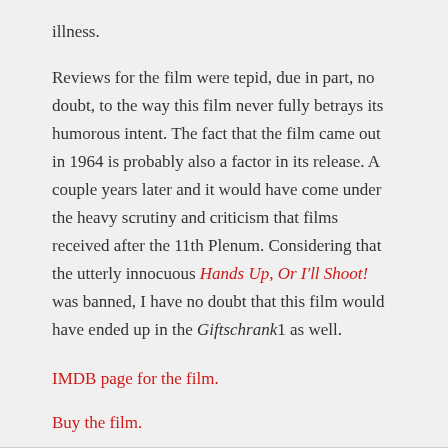illness.
Reviews for the film were tepid, due in part, no doubt, to the way this film never fully betrays its humorous intent. The fact that the film came out in 1964 is probably also a factor in its release. A couple years later and it would have come under the heavy scrutiny and criticism that films received after the 11th Plenum. Considering that the utterly innocuous Hands Up, Or I'll Shoot! was banned, I have no doubt that this film would have ended up in the Giftschrank1 as well.
IMDB page for the film.
Buy the film.